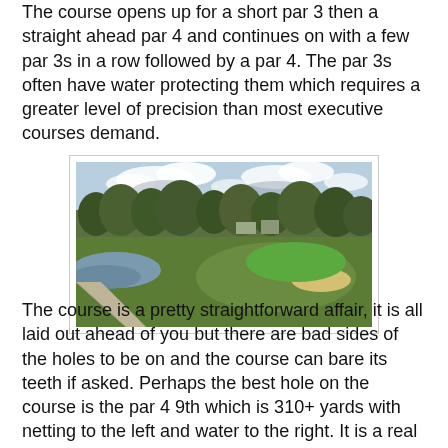The course opens up for a short par 3 then a straight ahead par 4 and continues on with a few par 3s in a row followed by a par 4. The par 3s often have water protecting them which requires a greater level of precision than most executive courses demand.
[Figure (photo): A golf course scene showing a cart path on the left, a green fairway with a sand bunker on the right, a water hazard on the left side, and trees lining the background under a cloudy sky.]
The course is a pretty straightforward affair, it is all laid out ahead of you but there are bad sides of the holes to be on and the course can bare its teeth if asked. Perhaps the best hole on the course is the par 4 9th which is 310+ yards with netting to the left and water to the right. It is a real tester of a